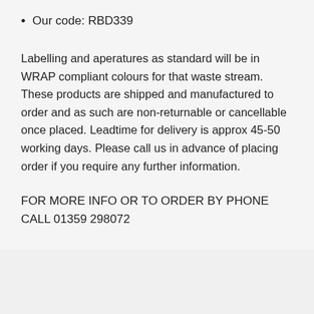Our code: RBD339
Labelling and aperatures as standard will be in WRAP compliant colours for that waste stream. These products are shipped and manufactured to order and as such are non-returnable or cancellable once placed. Leadtime for delivery is approx 45-50 working days. Please call us in advance of placing order if you require any further information.
FOR MORE INFO OR TO ORDER BY PHONE CALL 01359 298072